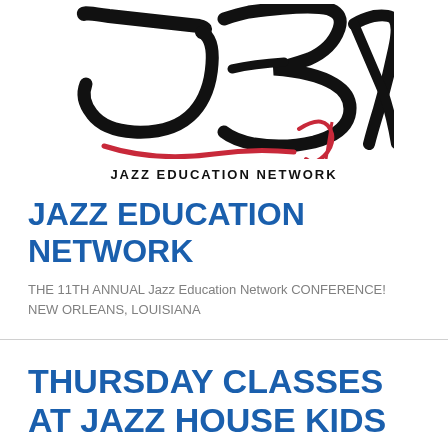[Figure (logo): Jazz Education Network logo — large stylized cursive 'JEN' letters in black with red accent lines/curves beneath]
JAZZ EDUCATION NETWORK
JAZZ EDUCATION NETWORK
THE 11TH ANNUAL Jazz Education Network CONFERENCE!
NEW ORLEANS, LOUISIANA
THURSDAY CLASSES AT JAZZ HOUSE KIDS RESUME!